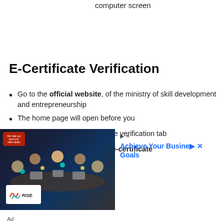required. Information will be on your computer screen
E-Certificate Verification
Go to the official website, of the ministry of skill development and entrepreneurship
The home page will open before you
On the home page, click on the verification tab
Now you have to click on the e-certificate
[Figure (photo): Advertisement banner showing people working around a table with laptops and devices, with RISE logo and 'Achieve Your Business Goals' text in blue]
Ad